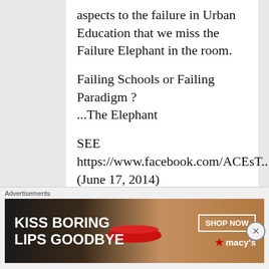aspects to the failure in Urban Education that we miss the Failure Elephant in the room.
Failing Schools or Failing Paradigm ?
...The Elephant
SEE https://www.facebook.com/ACEsT... (June 17, 2014)
We all must start with a MAJOR paradigm shift in Urban Education. Incremental
Advertisements
[Figure (photo): Advertisement banner for Macy's lipstick: 'KISS BORING LIPS GOODBYE' with a woman's face showing red lips, SHOP NOW button, and Macy's star logo]